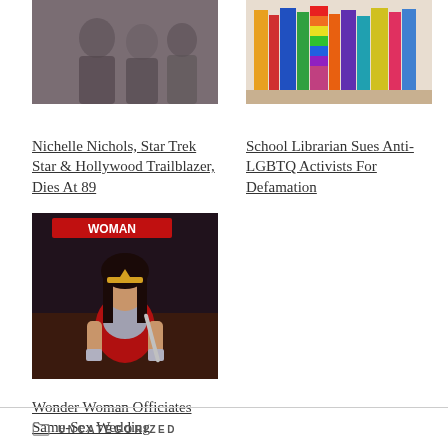[Figure (photo): Photo of people, appears to be a group selfie or photo of two or three people]
[Figure (photo): Photo of books on a shelf with colorful spines, some with rainbow/LGBTQ flag colors]
Nichelle Nichols, Star Trek Star & Hollywood Trailblazer, Dies At 89
School Librarian Sues Anti-LGBTQ Activists For Defamation
[Figure (photo): Wonder Woman comic book or poster artwork showing Wonder Woman in armor]
Wonder Woman Officiates Same-Sex Wedding
UNCATEGORIZED